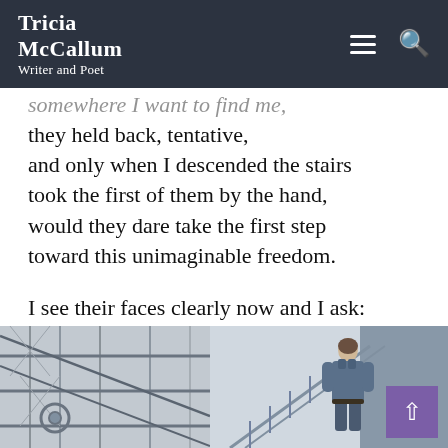Tricia McCallum
Writer and Poet
they held back, tentative,
and only when I descended the stairs
took the first of them by the hand,
would they dare take the first step
toward this unimaginable freedom.

I see their faces clearly now and I ask:
Who among us could possibly measure
the courage we asked of them.
[Figure (photo): Two-panel photo showing a staircase/fire escape on the left and a person (back view) wearing a denim jacket on a staircase on the right, in black and white/muted tones.]